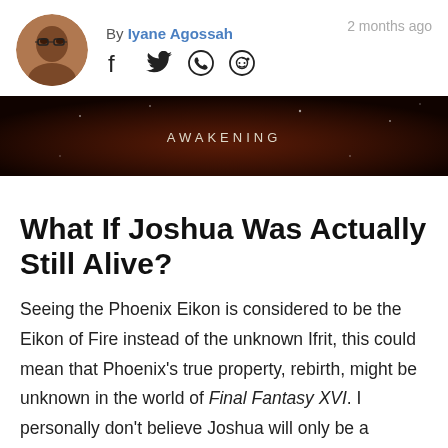By Iyane Agossah  2 months ago
[Figure (photo): Circular avatar photo of author Iyane Agossah, a man with glasses]
[Figure (screenshot): Dark banner image with text AWAKENING in light letters, from Final Fantasy XVI]
What If Joshua Was Actually Still Alive?
Seeing the Phoenix Eikon is considered to be the Eikon of Fire instead of the unknown Ifrit, this could mean that Phoenix's true property, rebirth, might be unknown in the world of Final Fantasy XVI. I personally don't believe Joshua will only be a sacrificial lamb used in the game's prologue to trigger Clive's revenge quest. Especially seeing Square Enix went for an illustration of Phoenix and